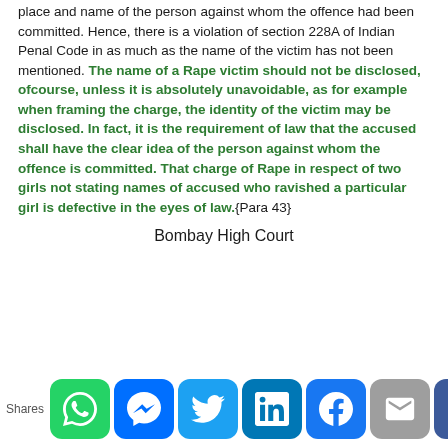place and name of the person against whom the offence had been committed. Hence, there is a violation of section 228A of Indian Penal Code in as much as the name of the victim has not been mentioned. The name of a Rape victim should not be disclosed, ofcourse, unless it is absolutely unavoidable, as for example when framing the charge, the identity of the victim may be disclosed. In fact, it is the requirement of law that the accused shall have the clear idea of the person against whom the offence is committed. That charge of Rape in respect of two girls not stating names of accused who ravished a particular girl is defective in the eyes of law.{Para 43}
Bombay High Court
[Figure (infographic): Social media share buttons row: WhatsApp, Messenger, Twitter, LinkedIn, Facebook, Email, Crown/other. Shares label on left.]